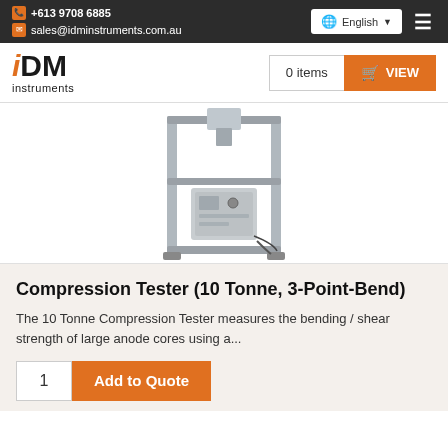+613 9708 6885 | sales@idminstruments.com.au | English
[Figure (logo): IDM Instruments logo with orange italic i and bold DM text]
[Figure (photo): 10 Tonne Compression Tester machine - grey metal frame with hydraulic unit and control box]
Compression Tester (10 Tonne, 3-Point-Bend)
The 10 Tonne Compression Tester measures the bending / shear strength of large anode cores using a...